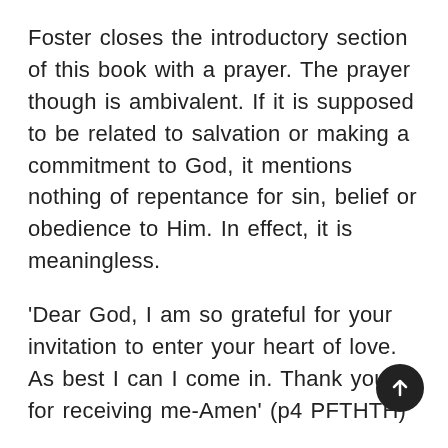Foster closes the introductory section of this book with a prayer. The prayer though is ambivalent. If it is supposed to be related to salvation or making a commitment to God, it mentions nothing of repentance for sin, belief or obedience to Him. In effect, it is meaningless.
'Dear God, I am so grateful for your invitation to enter your heart of love. As best I can I come in. Thank you for receiving me-Amen' (p4 PFTHTH)
It is no surprise therefore that Foster thinks that a child of God cannot offer